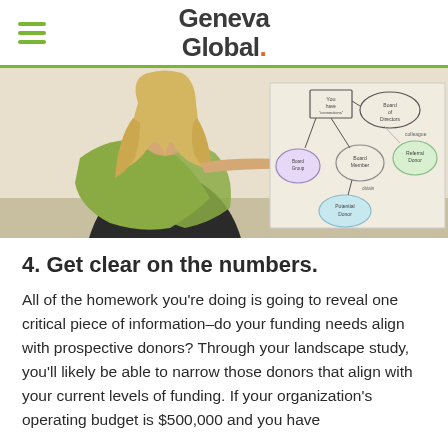Geneva Global.
[Figure (photo): Woman with long blonde hair wearing a green shawl and dark top, pointing at a whiteboard with a hand-drawn network/org chart showing circles labeled Board of Directors, Board Member, Potential Donor, colleagues, and other nodes connected by lines.]
4. Get clear on the numbers.
All of the homework you’re doing is going to reveal one critical piece of information–do your funding needs align with prospective donors? Through your landscape study, you’ll likely be able to narrow those donors that align with your current levels of funding. If your organization’s operating budget is $500,000 and you have